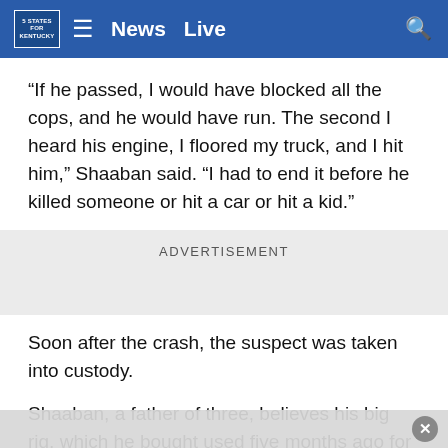News  Live
“If he passed, I would have blocked all the cops, and he would have run. The second I heard his engine, I floored my truck, and I hit him,” Shaaban said. “I had to end it before he killed someone or hit a car or hit a kid.”
ADVERTISEMENT
Soon after the crash, the suspect was taken into custody.
Shaaban, a father of three, believes his big rig, which he bought used five months ago for $75,000, is totaled. He fears insurance won’t cover the damage because he deliberately crashed.